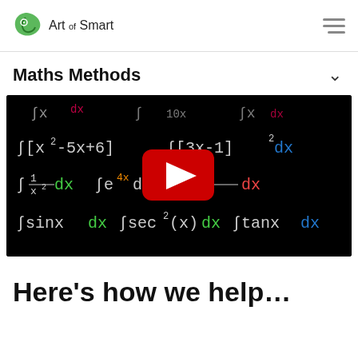Art of Smart
Maths Methods
[Figure (screenshot): YouTube video thumbnail showing a blackboard with handwritten calculus integration formulas including integrals of polynomial, exponential, rational, trigonometric functions, with a YouTube play button overlay]
Here’s how we help…